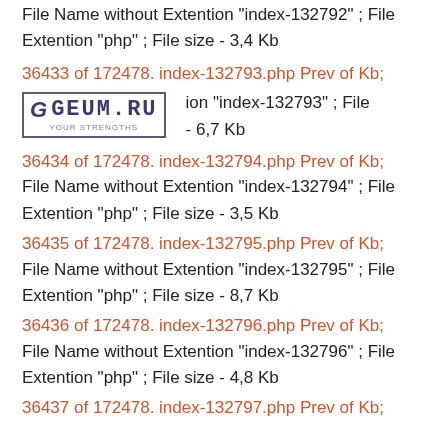File Name without Extention "index-132792" ; File Extention "php" ; File size - 3,4 Kb
36433 of 172478. index-132793.php Prev of Kb;
[Figure (logo): GEUM.RU logo with G letter in a box and tagline YOUR STRENGTHS]
ion "index-132793" ; File - 6,7 Kb
36434 of 172478. index-132794.php Prev of Kb;
File Name without Extention "index-132794" ; File Extention "php" ; File size - 3,5 Kb
36435 of 172478. index-132795.php Prev of Kb;
File Name without Extention "index-132795" ; File Extention "php" ; File size - 8,7 Kb
36436 of 172478. index-132796.php Prev of Kb;
File Name without Extention "index-132796" ; File Extention "php" ; File size - 4,8 Kb
36437 of 172478. index-132797.php Prev of Kb;